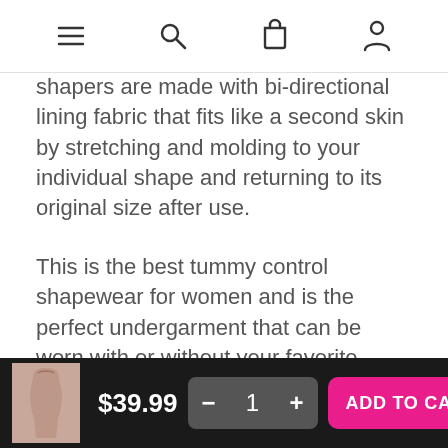Navigation bar with menu, search, cart, and account icons
shapers are made with bi-directional lining fabric that fits like a second skin by stretching and molding to your individual shape and returning to its original size after use.
This is the best tummy control shapewear for women and is the perfect undergarment that can be worn with or without your favorite underwear for any occasion! The shorts style eliminates panty lines and our front opening hook and eye design makes it easy to get in and out of the garment!
Firm control Powernet shapewear with targetted compression that is comfortable for all body
$39.99  −  1  +  ADD TO CART